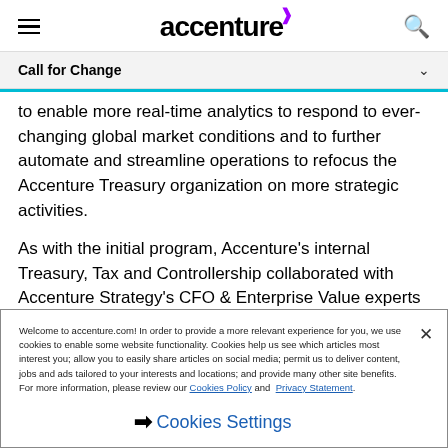accenture
Call for Change
to enable more real-time analytics to respond to ever-changing global market conditions and to further automate and streamline operations to refocus the Accenture Treasury organization on more strategic activities.
As with the initial program, Accenture's internal Treasury, Tax and Controllership collaborated with Accenture Strategy's CFO & Enterprise Value experts and our SAP Business Group, along with SAP's services organization to drive this latest
Welcome to accenture.com! In order to provide a more relevant experience for you, we use cookies to enable some website functionality. Cookies help us see which articles most interest you; allow you to easily share articles on social media; permit us to deliver content, jobs and ads tailored to your interests and locations; and provide many other site benefits. For more information, please review our Cookies Policy and Privacy Statement.
Cookies Settings